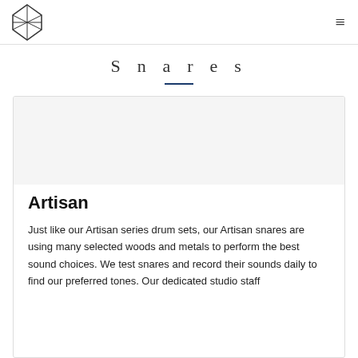[Logo] [Menu icon]
Snares
Artisan
Just like our Artisan series drum sets, our Artisan snares are using many selected woods and metals to perform the best sound choices. We test snares and record their sounds daily to find our preferred tones. Our dedicated studio staff